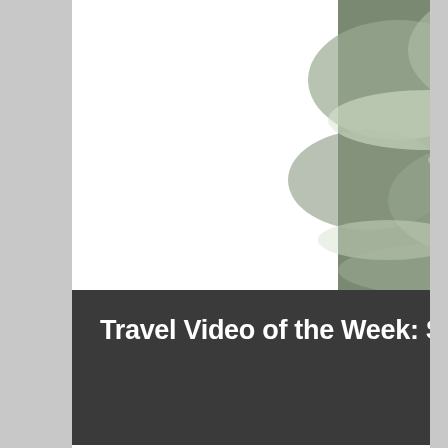[Figure (screenshot): Video thumbnail of surfing dolphins at St. Pete Beach with a YouTube-style play button overlay. Ocean waves and a surfer visible in the background.]
Travel Video of the Week: Surfing Dolphins on St. Pete Beach
Each week, I like to feature my favorite travel video! February 8, 2012: Surfing Dolphins on St.